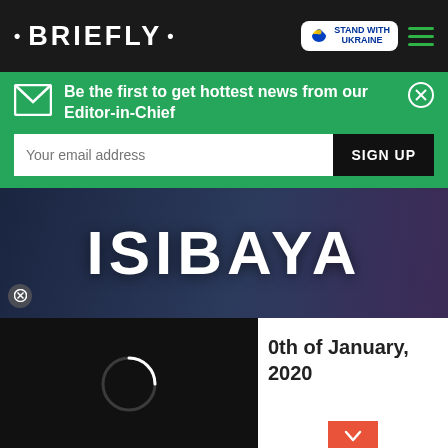• BRIEFLY •
Be the first to get hottest news from our Editor-in-Chief
[Figure (screenshot): Isibaya TV show banner with dark blue background and white large text reading ISIBAYA]
[Figure (screenshot): Video loading placeholder with black background and white loading circle spinner]
0th of January, 2020
[Figure (infographic): Support Ukrainian Army advertisement banner with soldiers image, blue and yellow Ukrainian flag, text: Support Ukrainian Army - Donate to defend Ukraine and democracy]